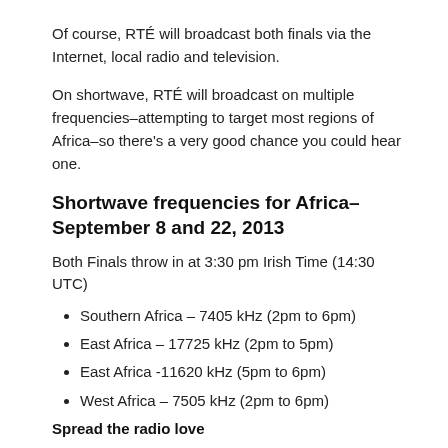Of course, RTÉ will broadcast both finals via the Internet, local radio and television.
On shortwave, RTÉ will broadcast on multiple frequencies–attempting to target most regions of Africa–so there's a very good chance you could hear one.
Shortwave frequencies for Africa–September 8 and 22, 2013
Both Finals throw in at 3:30 pm Irish Time (14:30 UTC)
Southern Africa – 7405 kHz (2pm to 6pm)
East Africa – 17725 kHz (2pm to 5pm)
East Africa -11620 kHz (5pm to 6pm)
West Africa – 7505 kHz (2pm to 6pm)
Spread the radio love